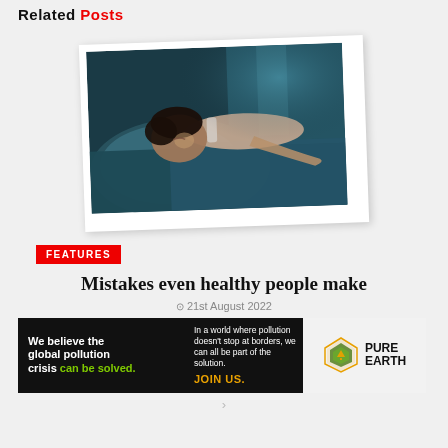Related Posts
[Figure (photo): Woman sleeping on a pillow, teal/blue toned photo, white polaroid-style frame slightly rotated]
FEATURES
Mistakes even healthy people make
21st August 2022
[Figure (other): Pure Earth advertisement banner: 'We believe the global pollution crisis can be solved. In a world where pollution doesn't stop at borders, we can all be part of the solution. JOIN US.' with Pure Earth logo on right.]